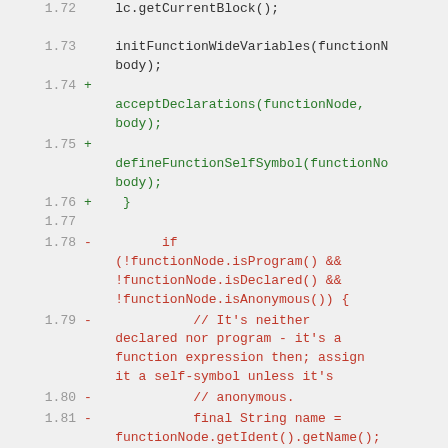Code diff view showing lines 1.72–1.84 with additions (green) and deletions (red) of JavaScript source code
1.72  (blank)
1.73  initFunctionWideVariables(functionNode, body);
1.74  + acceptDeclarations(functionNode, body);
1.75  + defineFunctionSelfSymbol(functionNode, body);
1.76  +     }
1.77  (blank)
1.78  -         if (!functionNode.isProgram() && !functionNode.isDeclared() && !functionNode.isAnonymous()) {
1.79  -             // It's neither declared nor program - it's a function expression then; assign it a self-symbol unless it's
1.80  -             // anonymous.
1.81  -             final String name = functionNode.getIdent().getName();
1.82  -             assert name != null;
1.83  -             assert body.getExistingSymbol(name) == null;
1.84  -             defineSymbol(body, name, functionNode, IS_VAR | IS_FUNCTION_SELF |